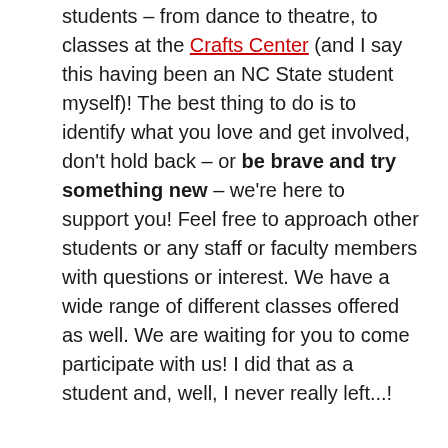students – from dance to theatre, to classes at the Crafts Center (and I say this having been an NC State student myself)! The best thing to do is to identify what you love and get involved, don't hold back – or be brave and try something new – we're here to support you! Feel free to approach other students or any staff or faculty members with questions or interest. We have a wide range of different classes offered as well. We are waiting for you to come participate with us! I did that as a student and, well, I never really left...!
Anything else you want to add?
Welcome back to campus! Go Wolfpack!